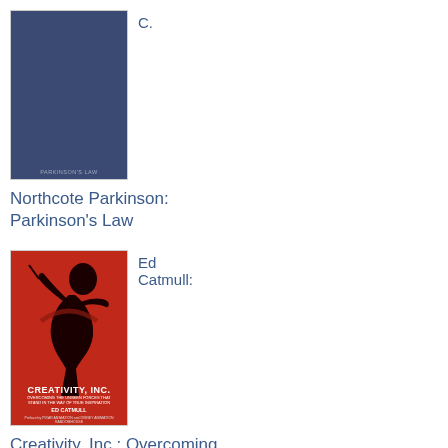[Figure (photo): Book cover of Parkinson's Law by Northcote Parkinson — dark navy/blue cover]
C.
Northcote Parkinson: Parkinson's Law
[Figure (photo): Book cover of Creativity, Inc. by Ed Catmull — red cover with black silhouette of a conductor]
Ed Catmull:
Creativity, Inc.: Overcoming the Unseen Forces That Stand in the Way of True